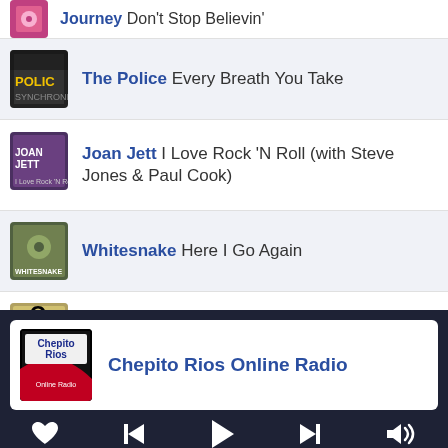Journey Don't Stop Believin'
The Police Every Breath You Take
Joan Jett I Love Rock 'N Roll (with Steve Jones & Paul Cook)
Whitesnake Here I Go Again
Queen Another One Bites the Dust
Phil Collins In the Air Tonight
Bon Jovi You Give Love a Bad Name
Chepito Rios Online Radio